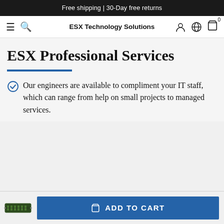Free shipping | 30-Day free returns
ESX Technology Solutions
ESX Professional Services
Our engineers are available to compliment your IT staff, which can range from help on small projects to managed services.
ADD TO CART